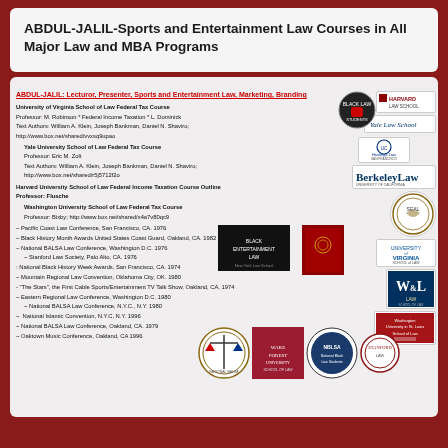ABDUL-JALIL-Sports and Entertainment Law Courses in All Major Law and MBA Programs
ABDUL-JALIL: Lecturor, Presenter, Sports and Entertainment Law, Marketing, Branding
University of Virginia School of Law Federal Tax Course
Professor: M. Robinson * Federal Income Taxation * L. Dominick
Text Authors: William A. Klein, Joseph Bankman, Daniel N. Shaviro;
http://www.box.net/shared/vvxsq9upao

Yale University School of Law Federal Tax Course
Professor: Eric M. Zolt
Text Authors: William A. Klein, Joseph Bankman, Daniel N. Shaviro;
http://www.box.net/shared/r5j5712f2o

Harvard University School of Law Federal Income Taxation Course Outline
Professor: Flusche

Washington University School of Law Federal Tax Course
Professor: Bixby; http://www.box.net/shared/x4a7v80qc9

~ Pacific Coast Law Conference, San Francisco, CA. 1976
~ Black History Month Awards United States Coast Guard, Oakland, CA. 1982
~ National BALSA Law Conference, Washington D.C. 1976
  ~ Stanford Law Society, Palo Alto, CA. 1976
: National Black History Week Awards, San Francisco, CA. 1974
~ Mountain Regional Law Convention, Oklahoma City, OK. 1980
- "The Stars", the First Cable Sports/Entertainment TV Talk Show, Oakland, CA, 1974
~ Eastern Regional Law Conference, Washington D.C. 1980
  ~ National BALSA Law Conference, N.Y.C., N.Y. 1980
~  National Islamic Convention, N.Y.C, N.Y. 1996
~ National BALSA Law Conference, Oakland, CA. 1979
~ Oaktown Music Conference, Oakland, CA 1996
[Figure (logo): Collection of law school logos and emblems including Harvard Law School, Yale Law School, Berkeley Law, UC Hastings Law, University of Virginia School of Law, W&L Law, Washington University School of Law, NBLSA logo, Wake Forest University, Stanford logo, and various law-related seals and emblems]